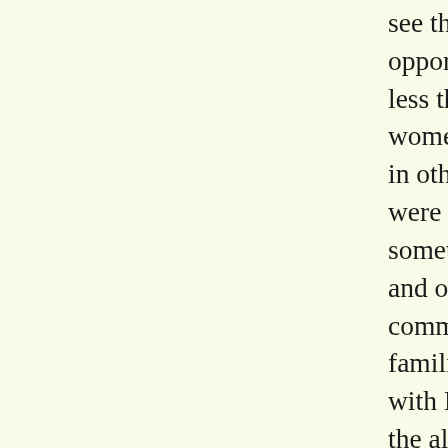see their educational and healthcare opportunities demurely shrink into something less than the maximum. The girls and the women refused to take gym class and engage in other activities for one reason only: they were under pressure to do so. The pressure sometimes came from their families at home, and other times from the larger Muslim community, in opposition to their own families. The pressure demanded conformity with Islamic precepts, not as determined by the already existing traditions of the Muslim immigrants, nor by the old and official mainline Muslim organization, but by the new Islamists. The headscarf was more than the symbol of this pressure. It was a mechanism of Islamist enforcement. The headscarf was precisely the item of clothing that guaranteed that any Muslim girl or woman who dared to venture into the wrong doorway or to take her place in the wrong classroom was